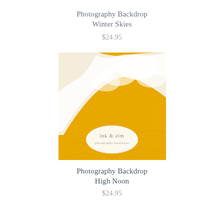Photography Backdrop Winter Skies
$24.95
[Figure (photo): Photography backdrop product image showing a yellow/golden and white textured backdrop with the 'Ink & Elm photography backdrops' logo oval in the lower center.]
Photography Backdrop High Noon
$24.95